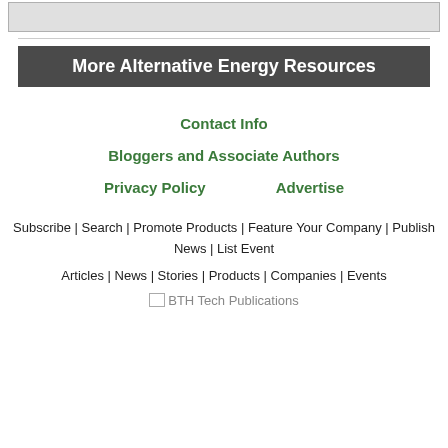[Figure (other): Gray placeholder box at top of page]
More Alternative Energy Resources
Contact Info
Bloggers and Associate Authors
Privacy Policy          Advertise
Subscribe | Search | Promote Products | Feature Your Company | Publish News | List Event
Articles | News | Stories | Products | Companies | Events
[Figure (logo): BTH Tech Publications logo]